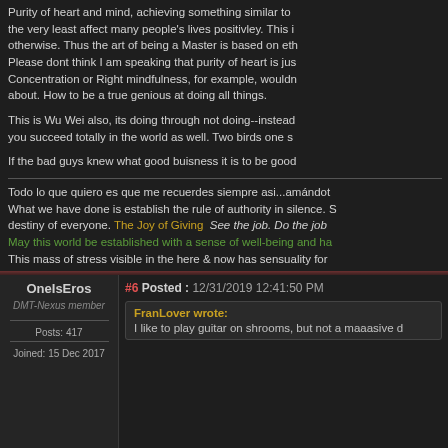Purity of heart and mind, achieving something similar to... the very least affect many people's lives positivley. This i... otherwise. Thus the art of being a Master is based on eth... Please dont think I am speaking that purity of heart is jus... Concentration or Right mindfulness, for example, wouldn... about. How to be a true genious at doing all things.
This is Wu Wei also, its doing through not doing--instead... you succeed totally in the world as well. Two birds one s...
If the bad guys knew what good buisness it is to be goo...
Todo lo que quiero es que me recuerdes siempre asi...amándot... What we have done is establish the rule of authority in silence. S... destiny of everyone. The Joy of Giving  See the job. Do the job... May this world be established with a sense of well-being and ha... This mass of stress visible in the here & now has sensuality for...
OneIsEros
DMT-Nexus member
Posts: 417
Joined: 15 Dec 2017
#6 Posted : 12/31/2019 12:41:50 PM
FranLover wrote:
I like to play guitar on shrooms, but not a maaasive d...